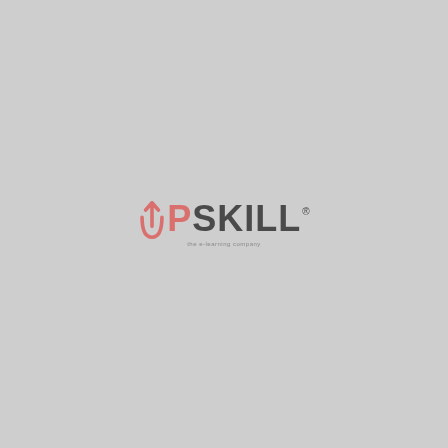[Figure (logo): UPSKILL logo centered on a light gray background. 'UP' is rendered in muted red/salmon color with an upward arrow integrated into the 'U', and 'SKILL' is in dark gray. A registered trademark symbol appears after 'SKILL'. A small tagline appears below the logo text.]